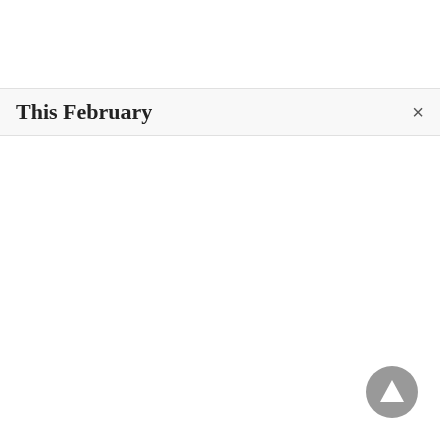This February
[Figure (other): Close button (×) at top right of dialog bar]
[Figure (other): Scroll-to-top button: circular grey button with upward triangle arrow, bottom right corner]